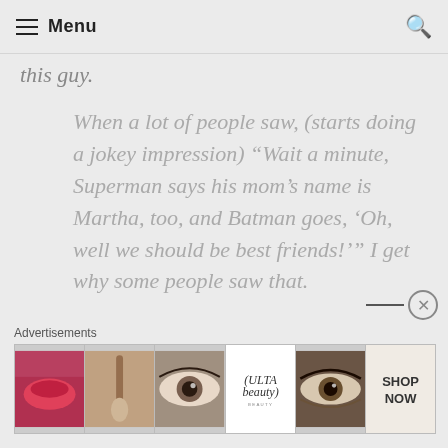Menu
this guy.
When a lot of people saw, (starts doing a jokey impression) “Wait a minute, Superman says his mom’s name is Martha, too, and Batman goes, ‘Oh, well we should be best friends!’” I get why some people saw that.
Sigh.
Advertisements
[Figure (other): Advertisements banner showing cosmetics imagery: lips with red lipstick, makeup brush, eye with makeup, ULTA Beauty logo, eye makeup close-up, and SHOP NOW button]